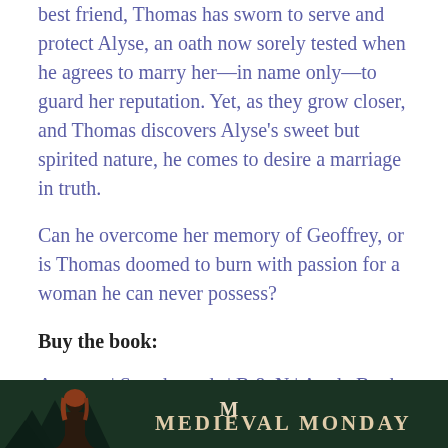best friend, Thomas has sworn to serve and protect Alyse, an oath now sorely tested when he agrees to marry her—in name only—to guard her reputation. Yet, as they grow closer, and Thomas discovers Alyse's sweet but spirited nature, he comes to desire a marriage in truth.
Can he overcome her memory of Geoffrey, or is Thomas doomed to burn with passion for a woman he can never possess?
Buy the book:
Amazon | Smashwords | B & N | Apple Books | Kobo
That's all for this round of Medieval Monday! Thanks so much for joining us.
[Figure (photo): Book promotional banner image showing a woman with red hair in a dark forest setting, with the text 'Medieval Monday' overlaid in decorative serif font on a dark green background.]